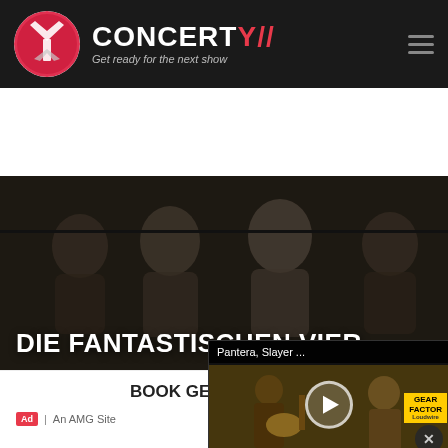[Figure (screenshot): Concerty website header with logo (Y symbol in red circle), brand name CONCERTY with red slash, tagline 'Get ready for the next show', and hamburger menu icon on dark background]
DIE FANTASTISCHEN VIER
[Figure (screenshot): Concert/tour section showing artist photo, IN TURNEU red badge, Asculta listen widget, and Pantera/Slayer Gear Factor video overlay with play button]
Pantera, Slayer ...
BOOK GENRE FINDER
Ad | An AMG Site